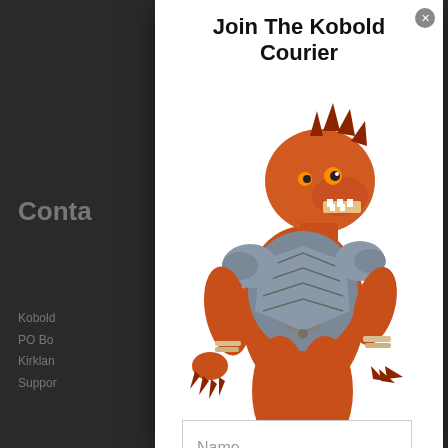Join The Kobold Courier
[Figure (illustration): A red/orange kobold character wearing grey plate armor, shown in a fantasy illustration style, standing in an aggressive pose with claws outstretched.]
Name
Email
Subscribe
Be like Swolbold. Stay up to date with the newest Kobold Press news and updates delivered to your inbox twice a month.